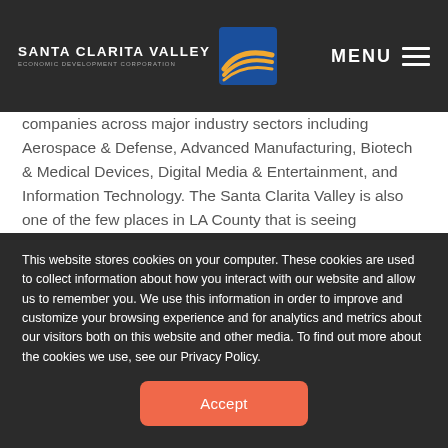SANTA CLARITA VALLEY ECONOMIC DEVELOPMENT CORPORATION  MENU
companies across major industry sectors including Aerospace & Defense, Advanced Manufacturing, Biotech & Medical Devices, Digital Media & Entertainment, and Information Technology. The Santa Clarita Valley is also one of the few places in LA County that is seeing increasing population growth, with numerous ongoing residential, commercial, and industrial projects.
Over the past several years I have been interviewing many of the
This website stores cookies on your computer. These cookies are used to collect information about how you interact with our website and allow us to remember you. We use this information in order to improve and customize your browsing experience and for analytics and metrics about our visitors both on this website and other media. To find out more about the cookies we use, see our Privacy Policy.
Accept